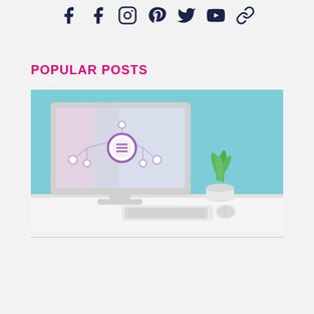[Figure (infographic): Row of social media icons (facebook, facebook, instagram, pinterest, twitter, youtube, chain/link) in dark navy blue]
POPULAR POSTS
[Figure (photo): Photo of a desktop computer monitor showing a purple circle icon with a flowchart/network diagram on screen, placed on a white desk with a keyboard, mouse, and small green plant in a white pot, against a light blue/teal background wall]